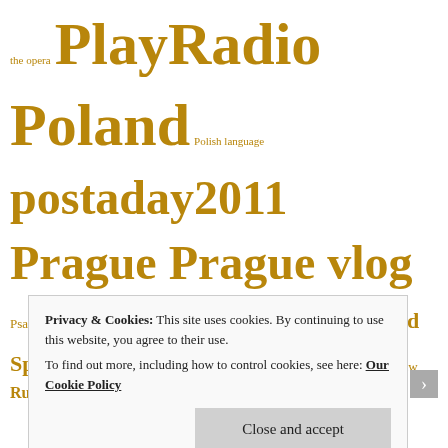the opera PlayRadio Poland Polish language postaday2011 Prague Prague vlog Psalms of Davey Pushkin Quora rant Religion and Spirituality Richard Berkeley Rickshaw Russian Russian Grammar Russian Language Russian lesson Shopping Short-term memory singing Social Sciences Sophie Sophie James Stuart Heron Tanya Tczew terrace The Psalms of Davey - My hymns Tommy Boyd Train Travel and Tourism Ukraine United States Viktor Huliganov walking Warsaw wife
Privacy & Cookies: This site uses cookies. By continuing to use this website, you agree to their use. To find out more, including how to control cookies, see here: Our Cookie Policy
Close and accept